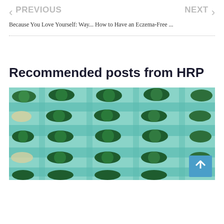PREVIOUS    Because You Love Yourself: Way...    How to Have an Eczema-Free ...    NEXT
Recommended posts from HRP
[Figure (photo): Close-up photo of green capsules/pills in blister packaging trays, teal/turquoise colored packaging with multiple rows of green supplement or medication capsules]